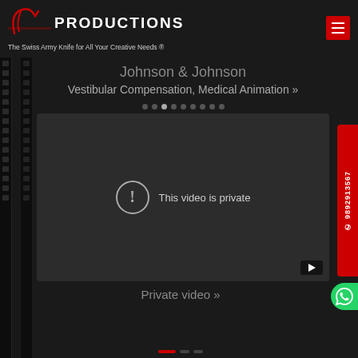[Figure (logo): Santanu Productions logo with red script and white bold text, tagline: The Swiss Army Knife for All Your Creative Needs ®]
Johnson & Johnson
Vestibular Compensation, Medical Animation »
[Figure (screenshot): Embedded video player showing 'This video is private' message with exclamation icon and YouTube playback button]
Private video »